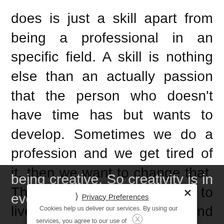does is just a skill apart from being a professional in an specific field. A skill is nothing else than an actually passion that the person who doesn't have time has but wants to develop. Sometimes we do a profession and we get tired of it, then we want to change that. There's only one life, let's try to live as much as we can and leave it as beautiful as we can, so doing many things at the end of the same thing
being creative. So creativity is in every area even
Cookies help us deliver our services. By using our services, you agree to our use of cookies.
Privacy Preferences
I Agree